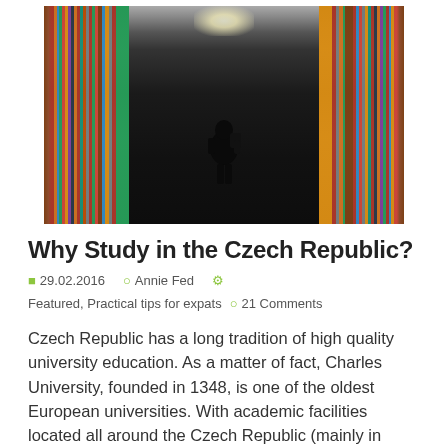[Figure (photo): A person with a backpack walks through the aisle of a library between tall shelves filled with colorful books, viewed from behind, with a bright hallway light ahead.]
Why Study in the Czech Republic?
29.02.2016  Annie Fed  Featured, Practical tips for expats  21 Comments
Czech Republic has a long tradition of high quality university education. As a matter of fact, Charles University, founded in 1348, is one of the oldest European universities. With academic facilities located all around the Czech Republic (mainly in Prague, two faculties in Hradec Kralove, one in Pilsen), Charles University has a total of 17 [...]